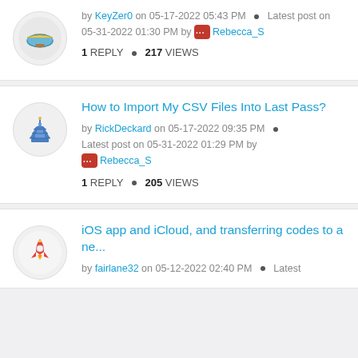by KeyZer0 on 05-17-2022 05:43 PM · Latest post on 05-31-2022 01:30 PM by Rebecca_S
1 REPLY • 217 VIEWS
How to Import My CSV Files Into Last Pass?
by RickDeckard on 05-17-2022 09:35 PM · Latest post on 05-31-2022 01:29 PM by Rebecca_S
1 REPLY • 205 VIEWS
iOS app and iCloud, and transferring codes to a ne...
by fairlane32 on 05-12-2022 02:40 PM · Latest